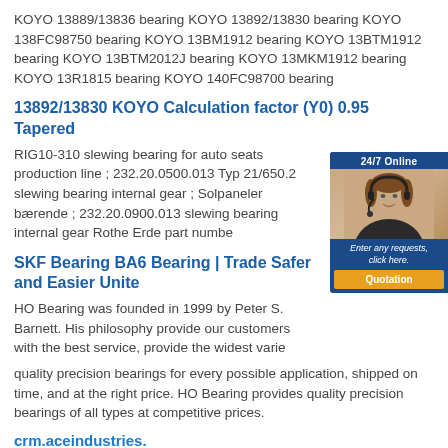KOYO 13889/13836 bearing KOYO 13892/13830 bearing KOYO 138FC98750 bearing KOYO 13BM1912 bearing KOYO 13BTM1912 bearing KOYO 13BTM2012J bearing KOYO 13MKM1912 bearing KOYO 13R1815 bearing KOYO 140FC98700 bearing
13892/13830 KOYO Calculation factor (Y0) 0.95 Tapered
RIG10-310 slewing bearing for auto seats production line ; 232.20.0500.013 Typ 21/650.2 slewing bearing internal gear ; Solpaneler bærende ; 232.20.0900.013 slewing bearing internal gear Rothe Erde part numbe
SKF Bearing BA6 Bearing | Trade Safer and Easier Unite
HO Bearing was founded in 1999 by Peter S. Barnett. His philosophy provide our customers with the best service, provide the widest varie quality precision bearings for every possible application, shipped on time, and at the right price. HO Bearing provides quality precision bearings of all types at competitive prices.
crm.aceindustries.
Bearing & Drive Supply 24865 Bearing Headquarters 20065 Bearing Service & Supply 610141C Bearing Service Company 7588 Michelin North America Inc. 7591 Innovative Metals 9511 Beaton Industrial, Inc. 8414 Beaulieu Fibers 7594 Conrad Yelvington 26336 Beaver Paper 19823 Bec-Don 713374W Bechtel Power Corp 19444 Bechtel Power Corp. 7597 Sumter EMC